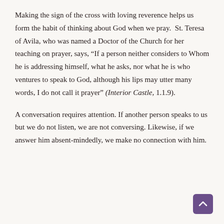Making the sign of the cross with loving reverence helps us form the habit of thinking about God when we pray.  St. Teresa of Avila, who was named a Doctor of the Church for her teaching on prayer, says, “If a person neither considers to Whom he is addressing himself, what he asks, nor what he is who ventures to speak to God, although his lips may utter many words, I do not call it prayer” (Interior Castle, 1.1.9).
A conversation requires attention. If another person speaks to us but we do not listen, we are not conversing. Likewise, if we answer him absent-mindedly, we make no connection with him.